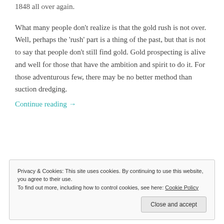1848 all over again.
What many people don’t realize is that the gold rush is not over. Well, perhaps the ‘rush’ part is a thing of the past, but that is not to say that people don’t still find gold. Gold prospecting is alive and well for those that have the ambition and spirit to do it. For those adventurous few, there may be no better method than suction dredging.
Continue reading →
Privacy & Cookies: This site uses cookies. By continuing to use this website, you agree to their use.
To find out more, including how to control cookies, see here: Cookie Policy
Close and accept